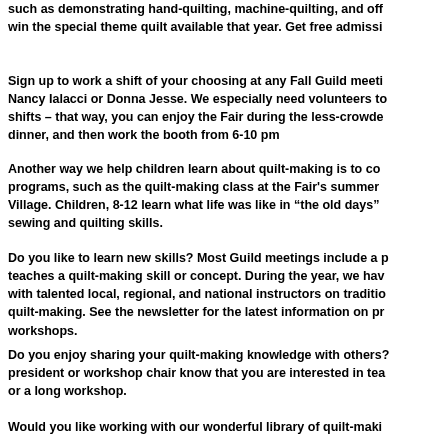such as demonstrating hand-quilting, machine-quilting, and off... win the special theme quilt available that year. Get free admissi...
Sign up to work a shift of your choosing at any Fall Guild meeti... Nancy Ialacci or Donna Jesse. We especially need volunteers to... shifts – that way, you can enjoy the Fair during the less-crowde... dinner, and then work the booth from 6-10 pm
Another way we help children learn about quilt-making is to co... programs, such as the quilt-making class at the Fair's summer... Village. Children, 8-12 learn what life was like in "the old days"... sewing and quilting skills.
Do you like to learn new skills? Most Guild meetings include a p... teaches a quilt-making skill or concept. During the year, we hav... with talented local, regional, and national instructors on traditio... quilt-making. See the newsletter for the latest information on pr... workshops.
Do you enjoy sharing your quilt-making knowledge with others?... president or workshop chair know that you are interested in tea... or a long workshop.
Would you like working with our wonderful library of quilt-maki...